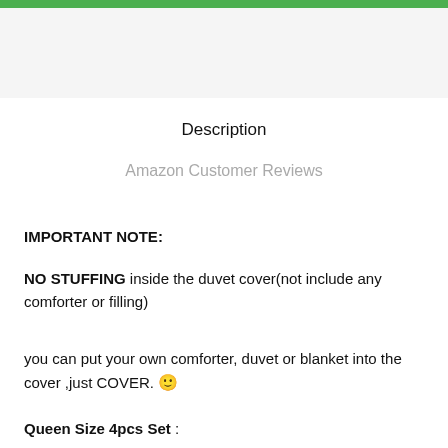Description
Amazon Customer Reviews
IMPORTANT NOTE:
NO STUFFING inside the duvet cover(not include any comforter or filling)
you can put your own comforter, duvet or blanket into the cover ,just COVER. 🙂
Queen Size 4pcs Set :